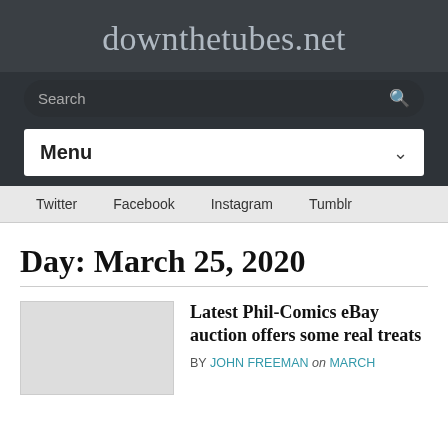downthetubes.net
Search
Menu
Twitter  Facebook  Instagram  Tumblr
Day: March 25, 2020
Latest Phil-Comics eBay auction offers some real treats
BY JOHN FREEMAN on MARCH